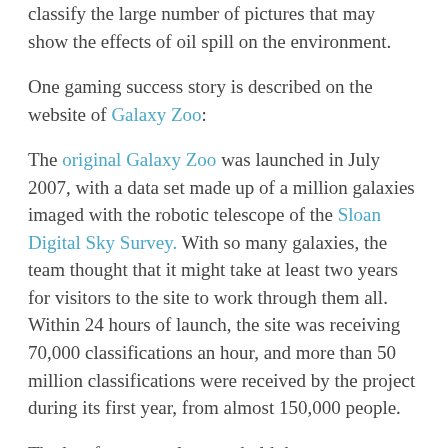classify the large number of pictures that may show the effects of oil spill on the environment.
One gaming success story is described on the website of Galaxy Zoo:
The original Galaxy Zoo was launched in July 2007, with a data set made up of a million galaxies imaged with the robotic telescope of the Sloan Digital Sky Survey. With so many galaxies, the team thought that it might take at least two years for visitors to the site to work through them all. Within 24 hours of launch, the site was receiving 70,000 classifications an hour, and more than 50 million classifications were received by the project during its first year, from almost 150,000 people.
The last few examples may hold the most